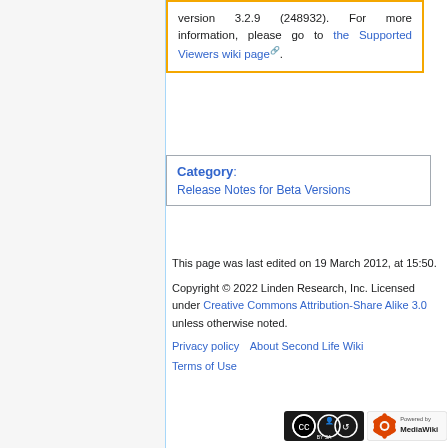version 3.2.9 (248932). For more information, please go to the Supported Viewers wiki page.
Category:
Release Notes for Beta Versions
This page was last edited on 19 March 2012, at 15:50.
Copyright © 2022 Linden Research, Inc. Licensed under Creative Commons Attribution-Share Alike 3.0 unless otherwise noted.
Privacy policy   About Second Life Wiki
Terms of Use
[Figure (logo): Creative Commons BY-SA logo badge]
[Figure (logo): Powered by MediaWiki badge]